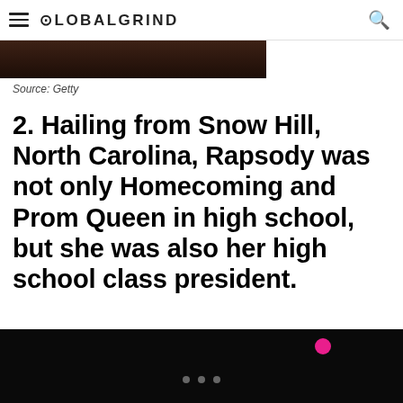GLOBALGRIND
[Figure (photo): Partial dark/brown toned photo cropped at top]
Source: Getty
2. Hailing from Snow Hill, North Carolina, Rapsody was not only Homecoming and Prom Queen in high school, but she was also her high school class president.
[Figure (photo): Dark/black image at bottom with pink circle accent and three navigation dots]